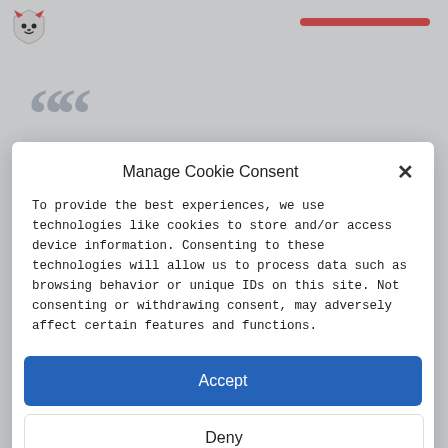[Figure (logo): Shield logo with cat/panda face, top-left corner]
[Figure (other): Red horizontal bar, top-right area]
[Figure (other): Large gray opening double quotation marks on light background]
Manage Cookie Consent
To provide the best experiences, we use technologies like cookies to store and/or access device information. Consenting to these technologies will allow us to process data such as browsing behavior or unique IDs on this site. Not consenting or withdrawing consent, may adversely affect certain features and functions.
Accept
Deny
View preferences
Cookie Policy   Privacy Policy